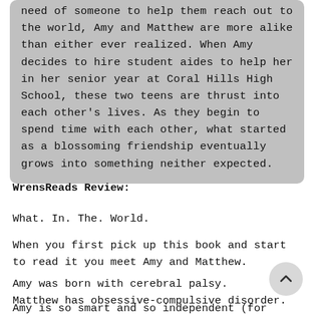need of someone to help them reach out to the world, Amy and Matthew are more alike than either ever realized. When Amy decides to hire student aides to help her in her senior year at Coral Hills High School, these two teens are thrust into each other's lives. As they begin to spend time with each other, what started as a blossoming friendship eventually grows into something neither expected.
WrensReads Review:
What. In. The. World.
When you first pick up this book and start to read it you meet Amy and Matthew.
Amy was born with cerebral palsy.
Matthew has obsessive-compulsive disorder.
Amy is so smart and so independent (for someone that is so depending) with her own thoughts. Matthew has a thing